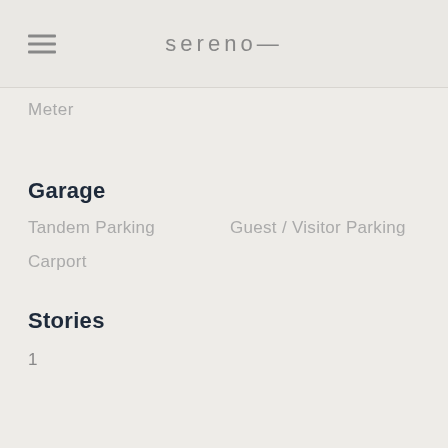sereno—
Meter
Garage
Tandem Parking
Guest / Visitor Parking
Carport
Stories
1